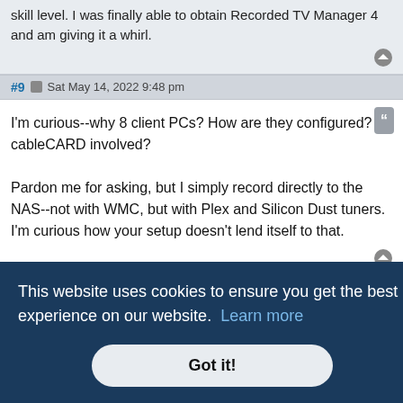skill level. I was finally able to obtain Recorded TV Manager 4 and am giving it a whirl.
#9  Sat May 14, 2022 9:48 pm
I'm curious--why 8 client PCs? How are they configured? Is cableCARD involved?

Pardon me for asking, but I simply record directly to the NAS--not with WMC, but with Plex and Silicon Dust tuners. I'm curious how your setup doesn't lend itself to that.
Post Reply
9 posts • Page 1 of 1
This website uses cookies to ensure you get the best experience on our website.  Learn more
Got it!
es are UTC
os and